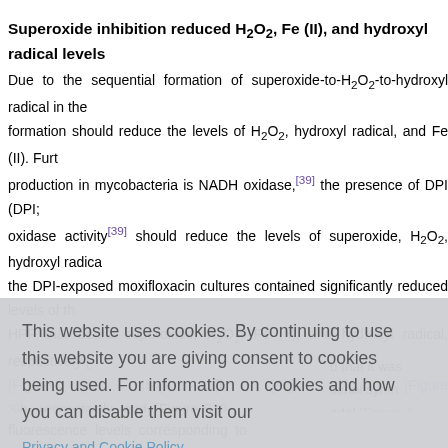Superoxide inhibition reduced H2O2, Fe (II), and hydroxyl radical levels
Due to the sequential formation of superoxide-to-H2O2-to-hydroxyl radical in the formation should reduce the levels of H2O2, hydroxyl radical, and Fe (II). Furt production in mycobacteria is NADH oxidase,[39] the presence of DPI (DPI; oxidase activity[39] should reduce the levels of superoxide, H2O2, hydroxyl radica the DPI-exposed moxifloxacin cultures contained significantly reduced levels of th HPF that detect superoxide, H2O2, Fe (II), and hydroxyl radical, respectively [ [Figure 3]e, [Figure 3]f, [Figure 3]g, [Figure 3]h, respectively, and [Figure S10
d that it was serial synth odel [Figure 4 eroxide, H2O ltures expo f DPI. (a, c : Red, and H ce of CRG, ure to moxi ing FeRhoN cells). The
[Figure (screenshot): Cookie consent overlay popup with text 'This website uses cookies. By continuing to use this website you are giving consent to cookies being used. For information on cookies and how you can disable them visit our Privacy and Cookie Policy.' and a red 'AGREE & PROCEED' button]
fluorescence levels corresponding to